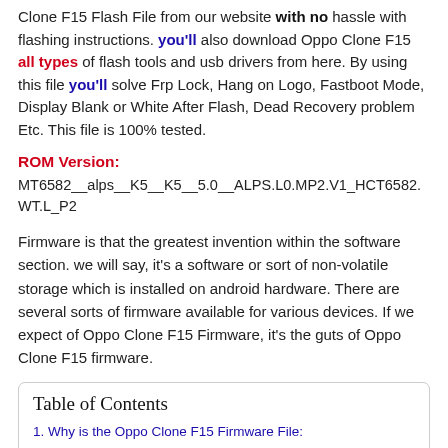Clone F15 Flash File from our website with no hassle with flashing instructions. you'll also download Oppo Clone F15 all types of flash tools and usb drivers from here. By using this file you'll solve Frp Lock, Hang on Logo, Fastboot Mode, Display Blank or White After Flash, Dead Recovery problem Etc. This file is 100% tested.
ROM Version:
MT6582__alps__K5__K5__5.0__ALPS.L0.MP2.V1_HCT6582.WT.L_P2
Firmware is that the greatest invention within the software section. we will say, it's a software or sort of non-volatile storage which is installed on android hardware. There are several sorts of firmware available for various devices. If we expect of Oppo Clone F15 Firmware, it's the guts of Oppo Clone F15 firmware.
| Table of Contents |
| --- |
| 1. Why is the Oppo Clone F15 Firmware File: |
| 2. How Can You Download Oppo Clone F15 Flash File? |